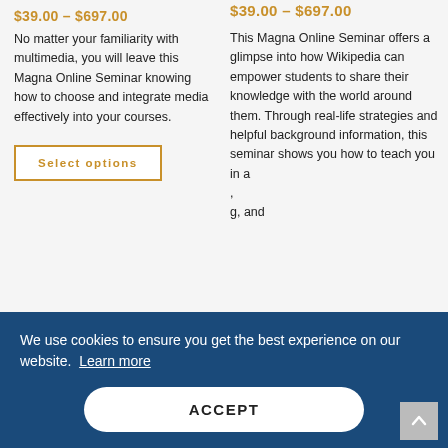$39.00 – $697.00
No matter your familiarity with multimedia, you will leave this Magna Online Seminar knowing how to choose and integrate media effectively into your courses.
Select options
$39.00 – $697.00
This Magna Online Seminar offers a glimpse into how Wikipedia can empower students to share their knowledge with the world around them. Through real-life strategies and helpful background information, this seminar shows you how to teach you ... in a ... , and
We use cookies to ensure you get the best experience on our website. Learn more
ACCEPT